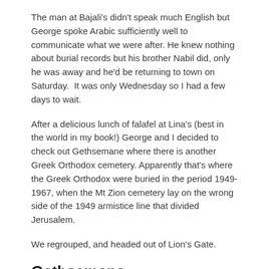The man at Bajali's didn't speak much English but George spoke Arabic sufficiently well to communicate what we were after. He knew nothing about burial records but his brother Nabil did, only he was away and he'd be returning to town on Saturday.  It was only Wednesday so I had a few days to wait.
After a delicious lunch of falafel at Lina's (best in the world in my book!) George and I decided to check out Gethsemane where there is another Greek Orthodox cemetery. Apparently that's where the Greek Orthodox were buried in the period 1949-1967, when the Mt Zion cemetery lay on the wrong side of the 1949 armistice line that divided Jerusalem.
We regrouped, and headed out of Lion's Gate.
Gethsemane